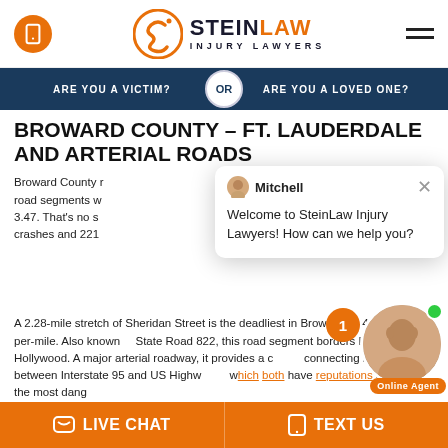[Figure (logo): SteinLaw Injury Lawyers logo with orange S icon and phone icon button]
[Figure (infographic): Navigation bar with 'ARE YOU A VICTIM?' and 'ARE YOU A LOVED ONE?' with 'OR' circle divider]
BROWARD COUNTY – FT. LAUDERDALE AND ARTERIAL ROADS
Broward County r... road segments w... 3.47. That's no s... crashes and 221...
[Figure (screenshot): Chat popup from Mitchell: Welcome to SteinLaw Injury Lawyers! How can we help you?]
A 2.28-mile stretch of Sheridan Street is the deadliest in Broward, at 4.39 fatalities-per-mile. Also known... State Road 822, this road segment borders Dania B... Hollywood. A major arterial roadway, it provides a c... connecting route between Interstate 95 and US Highw... which both have reputations as two of the most dang...
LIVE CHAT   TEXT US